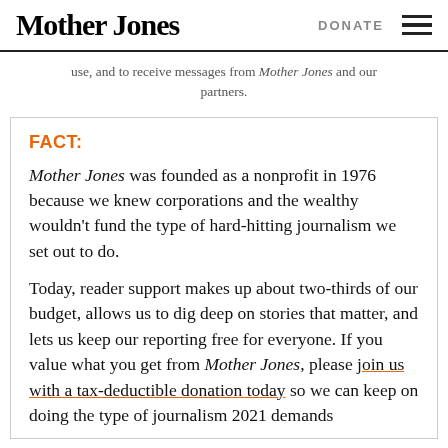Mother Jones | DONATE
use, and to receive messages from Mother Jones and our partners.
FACT:
Mother Jones was founded as a nonprofit in 1976 because we knew corporations and the wealthy wouldn't fund the type of hard-hitting journalism we set out to do.
Today, reader support makes up about two-thirds of our budget, allows us to dig deep on stories that matter, and lets us keep our reporting free for everyone. If you value what you get from Mother Jones, please join us with a tax-deductible donation today so we can keep on doing the type of journalism 2021 demands